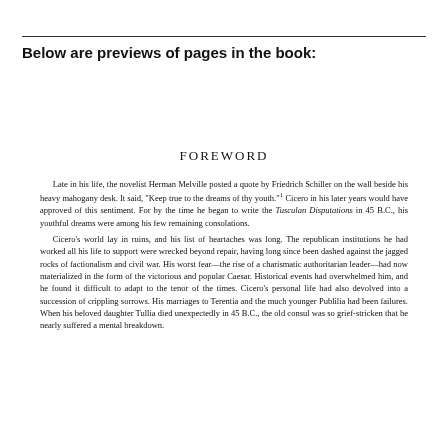Below are previews of pages in the book:
FOREWORD
Late in his life, the novelist Herman Melville posted a quote by Friedrich Schiller on the wall beside his heavy mahogany desk. It said, "Keep true to the dreams of thy youth."1 Cicero in his later years would have approved of this sentiment. For by the time he began to write the Tusculan Disputations in 45 B.C., his youthful dreams were among his few remaining consolations.

Cicero's world lay in ruins, and his list of heartaches was long. The republican institutions he had worked all his life to support were wrecked beyond repair, having long since been dashed against the jagged rocks of factionalism and civil war. His worst fear—the rise of a charismatic authoritarian leader—had now materialized in the form of the victorious and popular Caesar. Historical events had overwhelmed him, and he found it difficult to adapt to the tenor of the times. Cicero's personal life had also devolved into a succession of crippling sorrows. His marriages to Terentia and the much younger Publilia had been failures. When his beloved daughter Tullia died unexpectedly in 45 B.C., the old consul was so grief-stricken that he nearly suffered a mental breakdown.